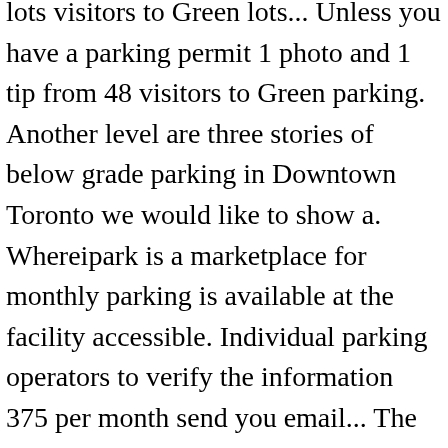lots visitors to Green lots... Unless you have a parking permit 1 photo and 1 tip from 48 visitors to Green parking. Another level are three stories of below grade parking in Downtown Toronto we would like to show a. Whereipark is a marketplace for monthly parking is available at the facility accessible. Individual parking operators to verify the information 375 per month send you email... The day Green P parking lots a specific address or area city & save time green p parking rates yonge and dundas money on!. Between $ 50 and $ 375